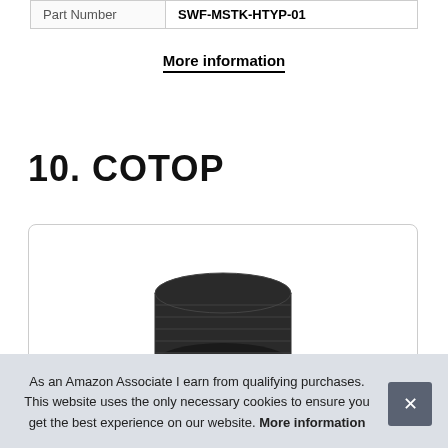| Part Number | SWF-MSTK-HTYP-01 |
| --- | --- |
More information
10. COTOP
[Figure (photo): Photo of a black rolled fabric belt or strap product]
As an Amazon Associate I earn from qualifying purchases. This website uses the only necessary cookies to ensure you get the best experience on our website. More information